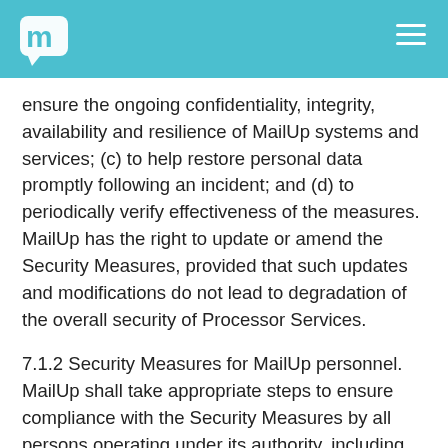MailUp logo and navigation
ensure the ongoing confidentiality, integrity, availability and resilience of MailUp systems and services; (c) to help restore personal data promptly following an incident; and (d) to periodically verify effectiveness of the measures. MailUp has the right to update or amend the Security Measures, provided that such updates and modifications do not lead to degradation of the overall security of Processor Services.
7.1.2 Security Measures for MailUp personnel. MailUp shall take appropriate steps to ensure compliance with the Security Measures by all persons operating under its authority, including its employees, agents, contractors and Subprocessors, insofar as applicable to the scope of their services, including assurances that all persons authorized to process Client Personal Data have signed non-disclosure agreements or are subject to appropriate